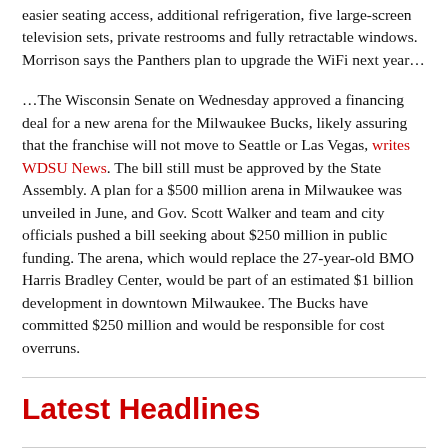easier seating access, additional refrigeration, five large-screen television sets, private restrooms and fully retractable windows. Morrison says the Panthers plan to upgrade the WiFi next year…
…The Wisconsin Senate on Wednesday approved a financing deal for a new arena for the Milwaukee Bucks, likely assuring that the franchise will not move to Seattle or Las Vegas, writes WDSU News. The bill still must be approved by the State Assembly. A plan for a $500 million arena in Milwaukee was unveiled in June, and Gov. Scott Walker and team and city officials pushed a bill seeking about $250 million in public funding. The arena, which would replace the 27-year-old BMO Harris Bradley Center, would be part of an estimated $1 billion development in downtown Milwaukee. The Bucks have committed $250 million and would be responsible for cost overruns.
Latest Headlines